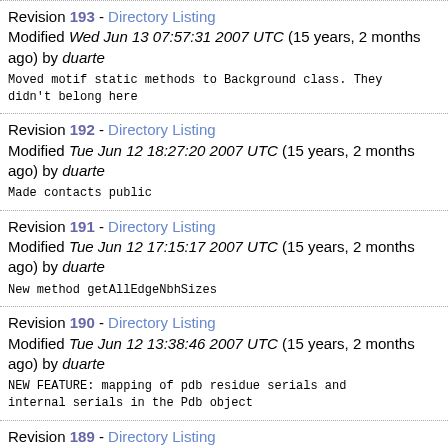Revision 193 - Directory Listing
Modified Wed Jun 13 07:57:31 2007 UTC (15 years, 2 months ago) by duarte

Moved motif static methods to Background class. They didn't belong here
Revision 192 - Directory Listing
Modified Tue Jun 12 18:27:20 2007 UTC (15 years, 2 months ago) by duarte

Made contacts public
Revision 191 - Directory Listing
Modified Tue Jun 12 17:15:17 2007 UTC (15 years, 2 months ago) by duarte

New method getAllEdgeNbhSizes
Revision 190 - Directory Listing
Modified Tue Jun 12 13:38:46 2007 UTC (15 years, 2 months ago) by duarte

NEW FEATURE: mapping of pdb residue serials and internal serials in the Pdb object
Revision 189 - Directory Listing